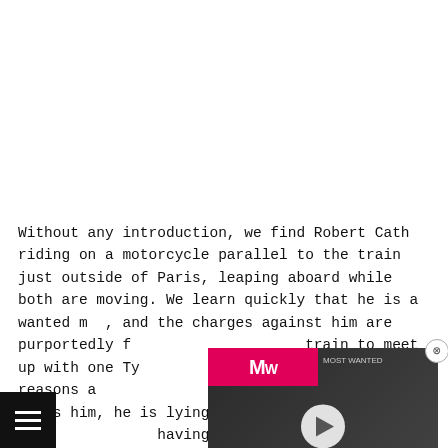Without any introduction, we find Robert Cath riding on a motorcycle parallel to the train just outside of Paris, leaping aboard while both are moving. We learn quickly that he is a wanted man, and the charges against him are purportedly false. He boards the train to meet up with one Tyler, an old friend, although no reasons are given for the rendezvous. When Cath finds him, he is lying dead in his compartment, having apparently been murdered. After disposing of the body and assuming his identity, Cath learns of the
[Figure (screenshot): Xbox Game Pass September 2022 video ad overlay with MW logo banner and play button over dark military imagery]